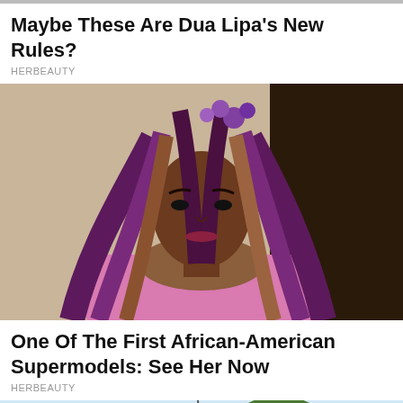Maybe These Are Dua Lipa's New Rules?
HERBEAUTY
[Figure (photo): A Black female model with long purple and brown ombre hair adorned with purple flowers, wearing a pink tweed top, walking a runway with a serious expression.]
One Of The First African-American Supermodels: See Her Now
HERBEAUTY
[Figure (photo): A woman with voluminous curly reddish-brown/auburn afro hair, photographed outdoors with buildings and trees in the background.]